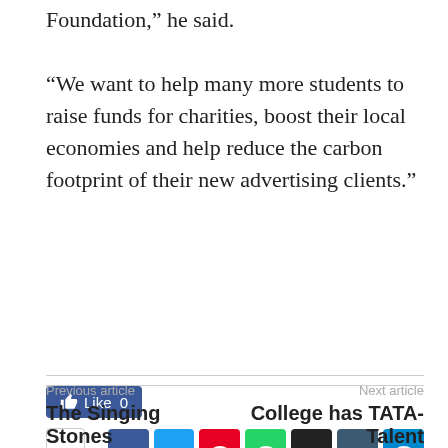Foundation,” he said.
“We want to help many more students to raise funds for charities, boost their local economies and help reduce the carbon footprint of their new advertising clients.”
[Figure (other): Like button showing 0 likes, followed by social share buttons: share icon, Facebook, Twitter, Pinterest, WhatsApp, Email, Tumblr, Telegram]
Previous article
The Singing Stones
Next article
College has TATA-Talent